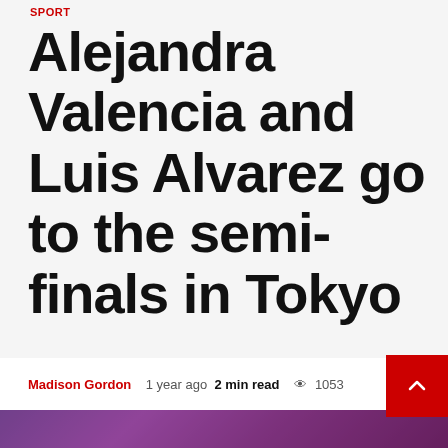SPORT
Alejandra Valencia and Luis Alvarez go to the semi-finals in Tokyo
Madison Gordon  1 year ago  2 min read  👁 1053
[Figure (photo): Photo of archery athletes at Tokyo Olympics, purple/red background]